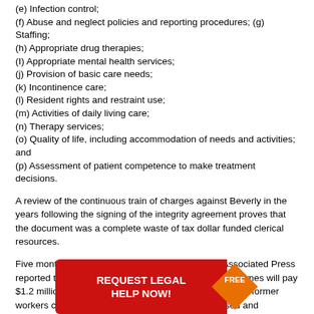(e) Infection control;
(f) Abuse and neglect policies and reporting procedures; (g) Staffing;
(h) Appropriate drug therapies;
(I) Appropriate mental health services;
(j) Provision of basic care needs;
(k) Incontinence care;
(l) Resident rights and restraint use;
(m) Activities of daily living care;
(n) Therapy services;
(o) Quality of life, including accommodation of needs and activities; and
(p) Assessment of patient competence to make treatment decisions.
A review of the continuous train of charges against Beverly in the years following the signing of the integrity agreement proves that the document was a complete waste of tax dollar funded clerical resources.
Five months after it was signed, in July 2001, the Associated Press reported that the nation's largest operator of nursing homes will pay $1.2 million to settle a racial discrimination lawsuit. Nine former workers claimed that black employees were harassed and subjected to discrimination and racial slurs at the Bridgeton Nursing Center in north St. Louis County, which Beverly owned at the time.
About a year after that, on August 1, 2002, in California's Santa Barbara County Superior Court, Deputy District Attorney Tracy Grossman filed a two-count felony crim...
[Figure (other): Red advertisement banner reading 'REQUEST LEGAL HELP NOW!' with a 'FREE' badge]